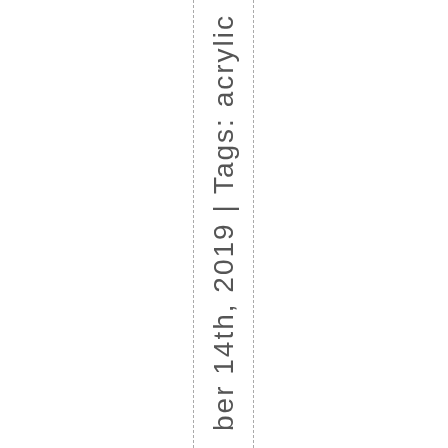ber 14th, 2019 | Tags: acrylic